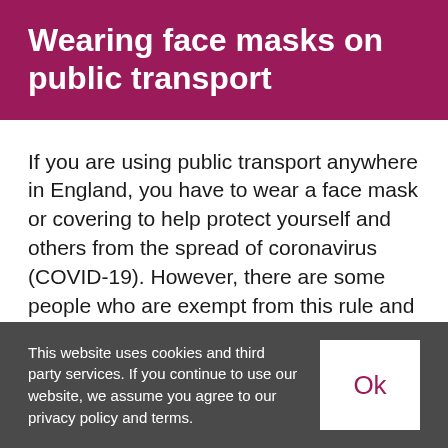Wearing face masks on public transport
If you are using public transport anywhere in England, you have to wear a face mask or covering to help protect yourself and others from the spread of coronavirus (COVID-19). However, there are some people who are exempt from this rule and will not be made to wear a face covering, or stopped from travelling on public transport. This is relevant
This website uses cookies and third party services. If you continue to use our website, we assume you agree to our privacy policy and terms.
Ok